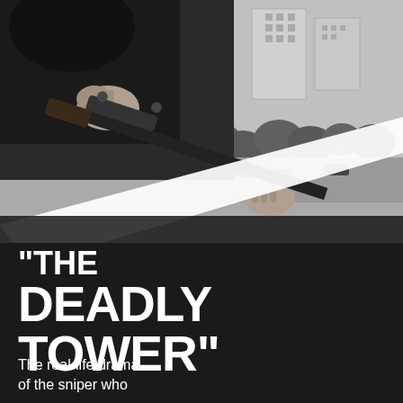[Figure (photo): Black and white photograph showing a person's hands holding a sniper rifle with a scope, positioned at an elevated angle. In the background below, a street scene with buildings, trees, and cars is visible from a high vantage point. A diagonal white stripe or ledge cuts across the lower portion of the image.]
"THE DEADLY TOWER"
The real-life drama of the sniper who